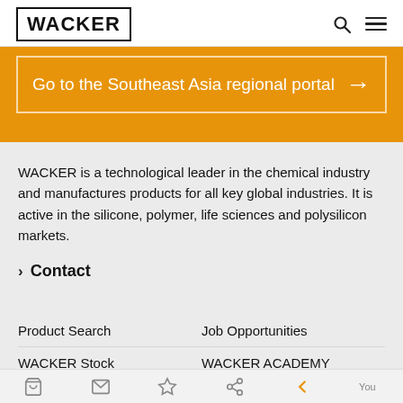WACKER
Go to the Southeast Asia regional portal →
WACKER is a technological leader in the chemical industry and manufactures products for all key global industries. It is active in the silicone, polymer, life sciences and polysilicon markets.
Contact
Product Search
Job Opportunities
WACKER Stock
WACKER ACADEMY
Media Relations
Addresses